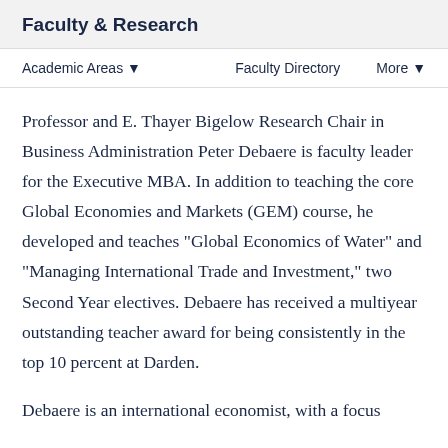Faculty & Research
Academic Areas ▾   Faculty Directory   More ▾
Professor and E. Thayer Bigelow Research Chair in Business Administration Peter Debaere is faculty leader for the Executive MBA. In addition to teaching the core Global Economies and Markets (GEM) course, he developed and teaches "Global Economics of Water" and "Managing International Trade and Investment," two Second Year electives. Debaere has received a multiyear outstanding teacher award for being consistently in the top 10 percent at Darden.
Debaere is an international economist, with a focus